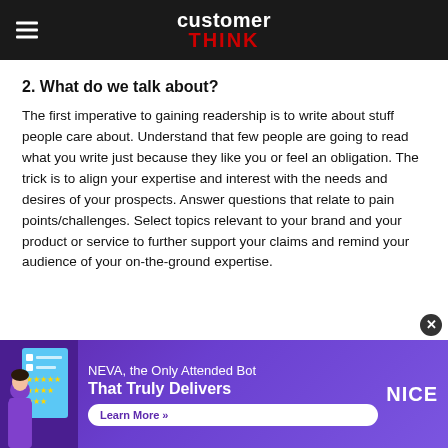customer THINK
2. What do we talk about?
The first imperative to gaining readership is to write about stuff people care about. Understand that few people are going to read what you write just because they like you or feel an obligation. The trick is to align your expertise and interest with the needs and desires of your prospects. Answer questions that relate to pain points/challenges. Select topics relevant to your brand and your product or service to further support your claims and remind your audience of your on-the-ground expertise.
[Figure (infographic): NEVA advertisement banner: 'NEVA, the Only Attended Bot That Truly Delivers' with Learn More button and NICE logo]